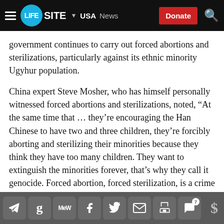LifeSite — USA News — Donate
government continues to carry out forced abortions and sterilizations, particularly against its ethnic minority Ugyhur population.
China expert Steve Mosher, who has himself personally witnessed forced abortions and sterilizations, noted, “At the same time that … they’re encouraging the Han Chinese to have two and three children, they’re forcibly aborting and sterilizing their minorities because they think they have too many children. They want to extinguish the minorities forever, that’s why they call it genocide. Forced abortion, forced sterilization, is a crime against humanity.”
Share icons: Telegram, Gettr, MeWe, Facebook, Twitter, Email, Print, Comments (7), Donate